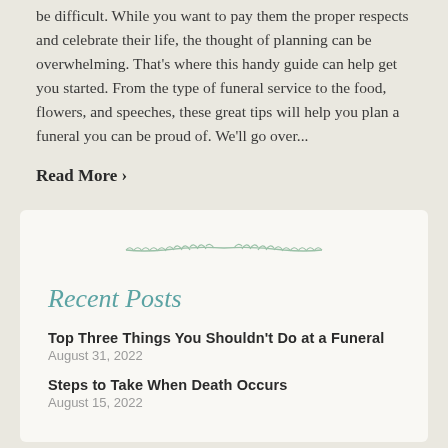be difficult. While you want to pay them the proper respects and celebrate their life, the thought of planning can be overwhelming. That's where this handy guide can help get you started. From the type of funeral service to the food, flowers, and speeches, these great tips will help you plan a funeral you can be proud of. We'll go over...
Read More ›
[Figure (illustration): Decorative leaf/laurel branch ornament divider in muted green]
Recent Posts
Top Three Things You Shouldn't Do at a Funeral
August 31, 2022
Steps to Take When Death Occurs
August 15, 2022